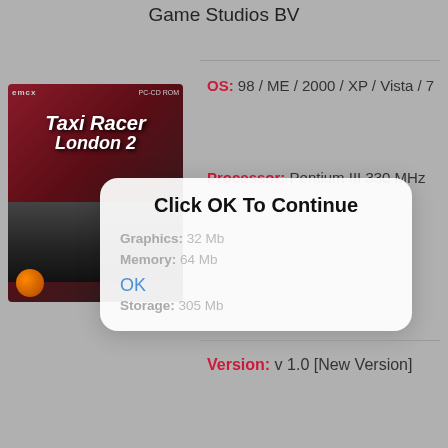Game Studios BV
[Figure (photo): Box art for Taxi Racer London 2 PC CD-ROM game, showing the game title over a London street scene with a racing car]
OS: 98 / ME / 2000 / XP / Vista / 7
Processor: Pentium III 330 MHz
Graphics: 32 Mb
Memory: 64 Mb
Storage: 305 Mb
Version: v 1.0 [New Version]
Click OK To Continue
Graphics: 32 Mb
Memory: 64 Mb
OK
Storage: 305 Mb